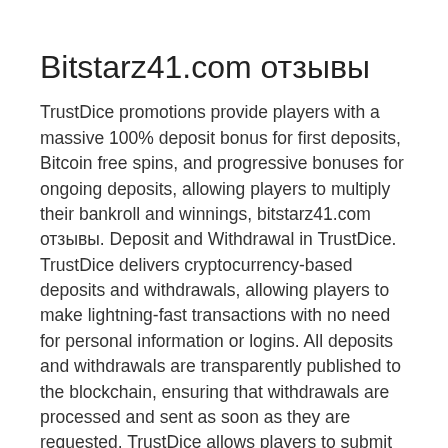Bitstarz41.com отзывы
TrustDice promotions provide players with a massive 100% deposit bonus for first deposits, Bitcoin free spins, and progressive bonuses for ongoing deposits, allowing players to multiply their bankroll and winnings, bitstarz41.com отзывы. Deposit and Withdrawal in TrustDice. TrustDice delivers cryptocurrency-based deposits and withdrawals, allowing players to make lightning-fast transactions with no need for personal information or logins. All deposits and withdrawals are transparently published to the blockchain, ensuring that withdrawals are processed and sent as soon as they are requested. TrustDice allows players to submit player-customized seeds in the random number